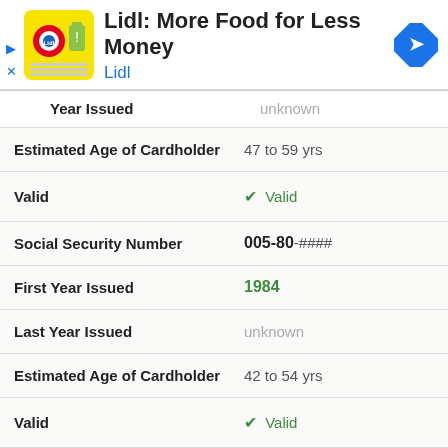[Figure (screenshot): Lidl advertisement banner with yellow logo icon, title 'Lidl: More Food for Less Money', subtitle 'Lidl', and a blue navigation diamond icon on the right. Small play and X controls on the left.]
| Field | Value |
| --- | --- |
| Year Issued | unknown |
| Estimated Age of Cardholder | 47 to 59 yrs |
| Valid | ✓ Valid |
| Social Security Number | 005-80-#### |
| First Year Issued | 1984 |
| Last Year Issued | unknown |
| Estimated Age of Cardholder | 42 to 54 yrs |
| Valid | ✓ Valid |
| Social Security Number | 005-84-#### |